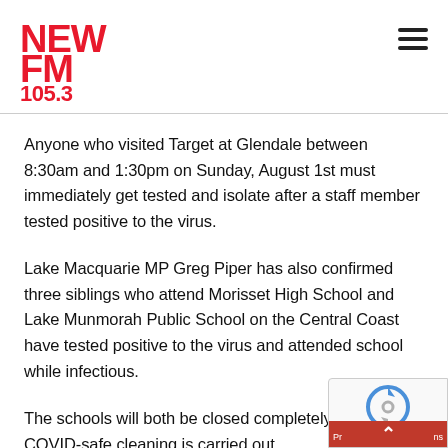NEW FM 105.3
Anyone who visited Target at Glendale between 8:30am and 1:30pm on Sunday, August 1st must immediately get tested and isolate after a staff member tested positive to the virus.
Lake Macquarie MP Greg Piper has also confirmed three siblings who attend Morisset High School and Lake Munmorah Public School on the Central Coast have tested positive to the virus and attended school while infectious.
The schools will both be closed completely while COVID-safe cleaning is carried out.